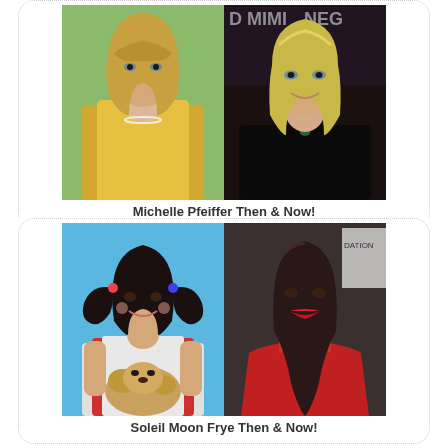[Figure (photo): Two-photo collage showing Michelle Pfeiffer then (young woman with blonde hair in yellow top, pearls) and now (mature woman with blonde hair in dark top)]
Michelle Pfeiffer Then & Now!
[Figure (photo): Two-photo collage showing Soleil Moon Frye then (young girl with pigtails holding a puppy, blue background) and now (adult woman with long dark hair in red dress)]
Soleil Moon Frye Then & Now!
[Figure (photo): Partial view of a third then-and-now collage, cropped at bottom of page]